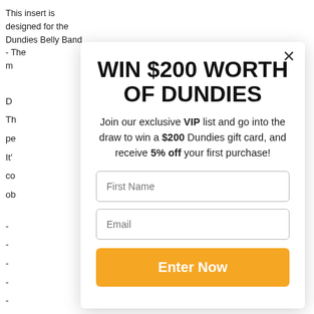This insert is designed for the Dundies Belly Band - The m
D
Th
pe
It'
co
ob
- 
- 
- 
- 
-
Id
- k
C
[Figure (screenshot): Modal popup overlay with title 'WIN $200 WORTH OF DUNDIES', subtitle text about VIP list and gift card draw, First Name and Email input fields, and an orange 'Enter Now' button. A close (X) button in top right corner.]